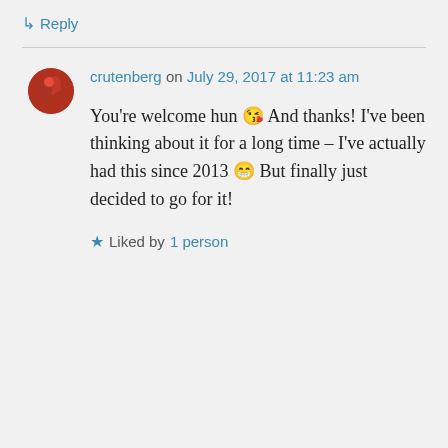↳ Reply
crutenberg on July 29, 2017 at 11:23 am
You're welcome hun 😘 And thanks! I've been thinking about it for a long time – I've actually had this since 2013 😁 But finally just decided to go for it!
Liked by 1 person